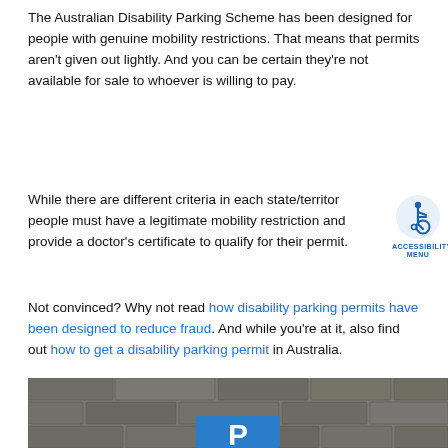The Australian Disability Parking Scheme has been designed for people with genuine mobility restrictions. That means that permits aren't given out lightly. And you can be certain they're not available for sale to whoever is willing to pay.
While there are different criteria in each state/territory, people must have a legitimate mobility restriction and provide a doctor's certificate to qualify for their permit.
[Figure (logo): Accessibility Menu logo — wheelchair icon above text reading ACCESSIBILITY MENU in blue]
Not convinced? Why not read how disability parking permits have been designed to reduce fraud. And while you're at it, also find out how to get a disability parking permit in Australia.
[Figure (photo): Photo of a stone brick wall with a blue disability parking sign (white P letter) visible at the bottom center]